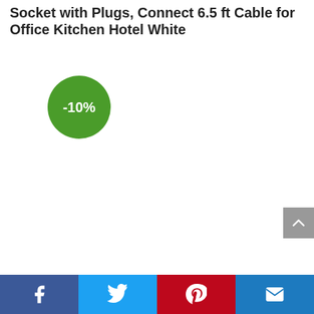Socket with Plugs, Connect 6.5 ft Cable for Office Kitchen Hotel White
[Figure (other): Green circular discount badge showing -10%]
[Figure (other): Gray back-to-top arrow button in top-right corner]
Social share bar with Facebook, Twitter, Pinterest, and Email icons